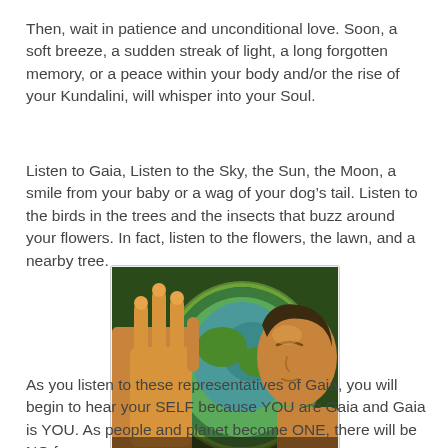Then, wait in patience and unconditional love. Soon, a soft breeze, a sudden streak of light, a long forgotten memory, or a peace within your body and/or the rise of your Kundalini, will whisper into your Soul.
Listen to Gaia, Listen to the Sky, the Sun, the Moon, a smile from your baby or a wag of your dog’s tail. Listen to the birds in the trees and the insects that buzz around your flowers. In fact, listen to the flowers, the lawn, and a nearby tree.
[Figure (photo): A young woman with eyes closed, her hand raised palm-forward against a glowing image of Earth from space, shown in warm golden tones against a green and blue background.]
As you listen to these representatives of Gaia, you will begin to hear your SELF because YOU are Gaia and Gaia is YOU. As people and planet become ONE, there will be NO force